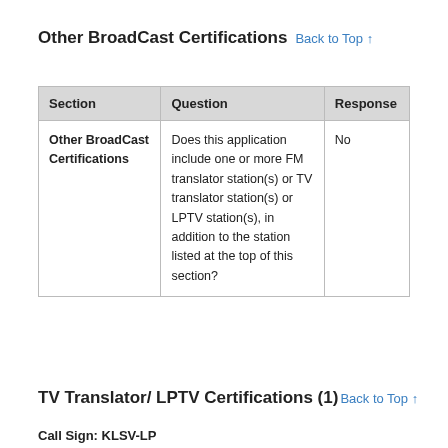Other BroadCast Certifications Back to Top ↑
| Section | Question | Response |
| --- | --- | --- |
| Other BroadCast Certifications | Does this application include one or more FM translator station(s) or TV translator station(s) or LPTV station(s), in addition to the station listed at the top of this section? | No |
TV Translator/ LPTV Certifications (1) Back to Top ↑
Call Sign: KLSV-LP